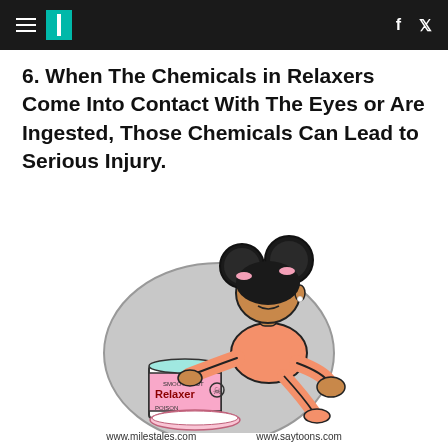HuffPost navigation header
6. When The Chemicals in Relaxers Come Into Contact With The Eyes or Are Ingested, Those Chemicals Can Lead to Serious Injury.
[Figure (illustration): Cartoon illustration of a young Black girl with puff buns wearing a pink outfit, leaning over and touching a can labeled 'Smooth Out Relaxer / Poison' with a bowl beneath it. A grey blob shadow is behind her. Website credits: www.milestales.com and www.saytoons.com.]
www.milestales.com     www.saytoons.com